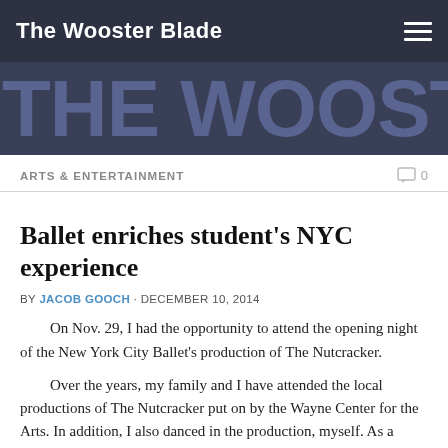The Wooster Blade
[Figure (logo): THE WOOSTER BLADE large text logo on dark blue-grey banner background]
ARTS & ENTERTAINMENT
Ballet enriches student’s NYC experience
BY JACOB GOOCH · DECEMBER 10, 2014
On Nov. 29, I had the opportunity to attend the opening night of the New York City Ballet's production of The Nutcracker.
Over the years, my family and I have attended the local productions of The Nutcracker put on by the Wayne Center for the Arts. In addition, I also danced in the production, myself. As a result, the ballet has earned a very special place in my heart.
Not to diminish the value of our own production here, but